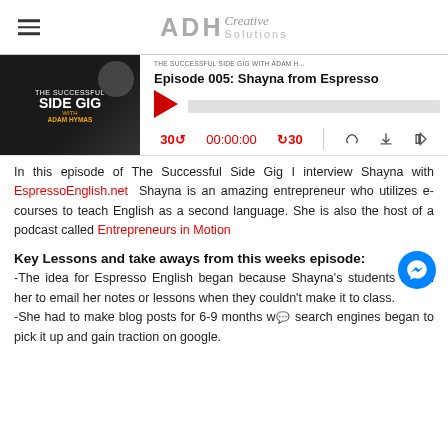ADH Creative Solutions
[Figure (screenshot): Podcast player widget showing 'Episode 005: Shayna from Espresso' with play button, progress bar, and playback controls (30 back, 00:00:00, 30 forward, RSS, download, embed icons). Thumbnail shows 'The Successful Side Gig' podcast artwork.]
In this episode of The Successful Side Gig I interview Shayna with EspressoEnglish.net Shayna is an amazing entrepreneur who utilizes e-courses to teach English as a second language. She is also the host of a podcast called Entrepreneurs in Motion
Key Lessons and take aways from this weeks episode:
-The idea for Espresso English began because Shayna's students asked her to email her notes or lessons when they couldn't make it to class.
-She had to make blog posts for 6-9 months w search engines began to pick it up and gain traction on google.